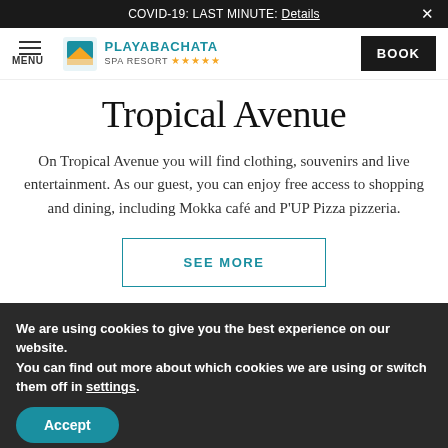COVID-19: LAST MINUTE: Details ×
MENU PLAYABACHATA SPA RESORT ★★★★★ BOOK
Tropical Avenue
On Tropical Avenue you will find clothing, souvenirs and live entertainment. As our guest, you can enjoy free access to shopping and dining, including Mokka café and P'UP Pizza pizzeria.
SEE MORE
We are using cookies to give you the best experience on our website.
You can find out more about which cookies we are using or switch them off in settings.
Accept